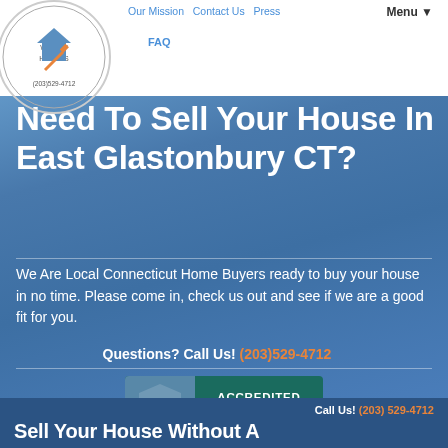Our Mission  Contact Us  Press  Menu▼  FAQ
Need To Sell Your House In East Glastonbury CT?
We Are Local Connecticut Home Buyers ready to buy your house in no time. Please come in, check us out and see if we are a good fit for you.
Questions? Call Us! (203)529-4712
[Figure (logo): BBB Accredited Business badge with teal background]
Click for Profile
Call Us! (203) 529-4712
Sell Your House Without A